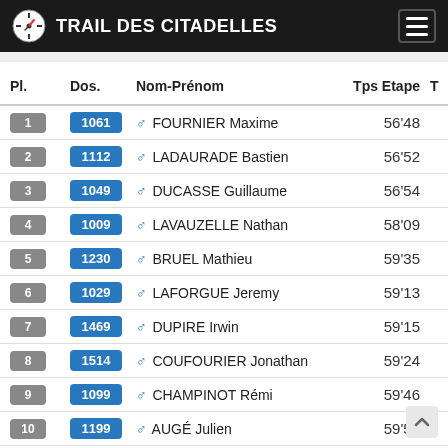TRAIL DES CITADELLES
| Pl. | Dos. | Nom-Prénom | Tps Etape | T |
| --- | --- | --- | --- | --- |
| 1 | 1061 | ♂ FOURNIER Maxime | 56'48 |  |
| 2 | 1112 | ♂ LADAURADE Bastien | 56'52 |  |
| 3 | 1049 | ♂ DUCASSE Guillaume | 56'54 |  |
| 4 | 1009 | ♂ LAVAUZELLE Nathan | 58'09 |  |
| 5 | 1230 | ♂ BRUEL Mathieu | 59'35 |  |
| 6 | 1029 | ♂ LAFORGUE Jeremy | 59'13 |  |
| 7 | 1469 | ♂ DUPIRE Irwin | 59'15 |  |
| 8 | 1514 | ♂ COUFOURIER Jonathan | 59'24 |  |
| 9 | 1099 | ♂ CHAMPINOT Rémi | 59'46 |  |
| 10 | 1199 | ♂ AUGÉ Julien | 59'58 |  |
| 11 | 1110 | ♂ DURAND Rémy | 1h00'26 |  |